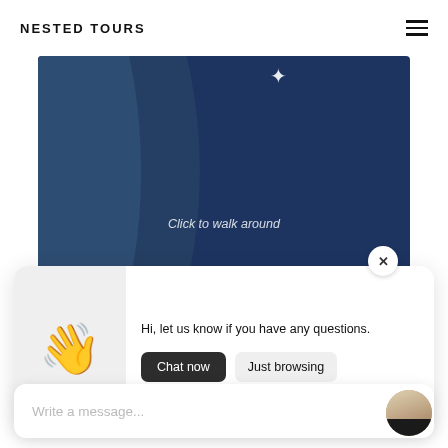NESTED TOURS
[Figure (screenshot): Dark navy blue hero image area with fabric texture and cursor icon, showing 'Click to walk around' text overlay]
Click to walk around
[Figure (screenshot): Chat popup with waving hand emoji, message 'Hi, let us know if you have any questions.' and two buttons: 'Chat now' and 'Just browsing']
Hi, let us know if you have any questions.
Chat now
Just browsing
Write a message...